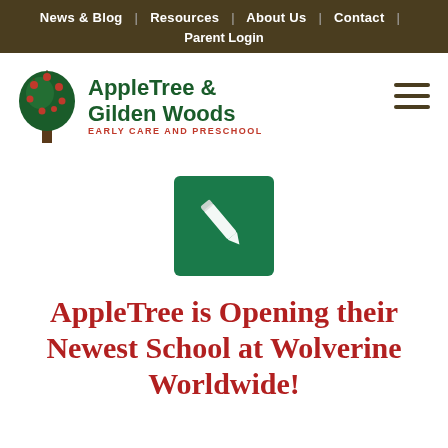News & Blog | Resources | About Us | Contact | Parent Login
[Figure (logo): AppleTree & Gilden Woods Early Care and Preschool logo with a stylized tree with red apples]
[Figure (illustration): Dark green square icon with a white pencil/edit icon in the center]
AppleTree is Opening their Newest School at Wolverine Worldwide!